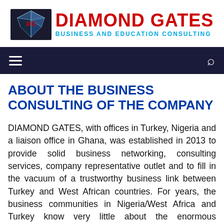[Figure (logo): Diamond Gates logo: diamond/DG icon on left, 'DIAMOND GATES' in large red bold text, 'BUSINESS AND EDUCATION CONSULTING' in blue text below]
≡   🔍
ABOUT THE BUSINESS CONSULTING OF THE COMPANY
DIAMOND GATES, with offices in Turkey, Nigeria and a liaison office in Ghana, was established in 2013 to provide solid business networking, consulting services, company representative outlet and to fill in the vacuum of a trustworthy business link between Turkey and West African countries. For years, the business communities in Nigeria/West Africa and Turkey know very little about the enormous investment and business opportunities